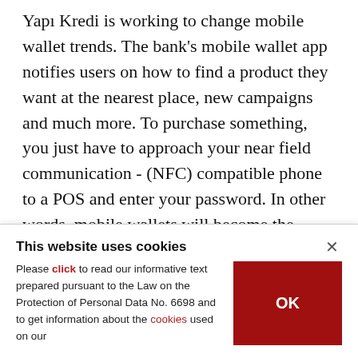Yapı Kredi is working to change mobile wallet trends. The bank's mobile wallet app notifies users on how to find a product they want at the nearest place, new campaigns and much more. To purchase something, you just have to approach your near field communication - (NFC) compatible phone to a POS and enter your password. In other words, mobile wallets will become the center of payments.

Google and Apple act fast to reach the masses by benefitting from their devices' best qualities. On
This website uses cookies
Please click to read our informative text prepared pursuant to the Law on the Protection of Personal Data No. 6698 and to get information about the cookies used on our